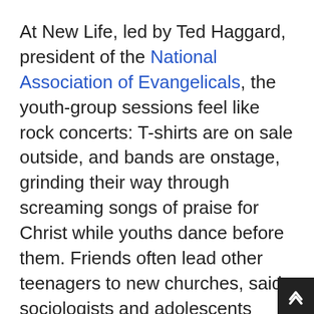At New Life, led by Ted Haggard, president of the National Association of Evangelicals, the youth-group sessions feel like rock concerts: T-shirts are on sale outside, and bands are onstage, grinding their way through screaming songs of praise for Christ while youths dance before them. Friends often lead other teenagers to new churches, said sociologists and adolescents themselves.
Though Emily's family had attended New Life when she was in grade school, she visited the church again in junior high at the invitation of a friend, largely because Emily